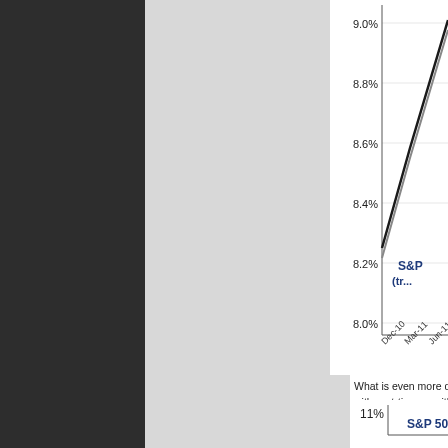[Figure (line-chart): S&P (tr...)]
What is even more disturbing is last seen during the past peak c simply replace with part-time ec with interest rates once again ri are now forever gone.
[Figure (line-chart): S&P 50...]